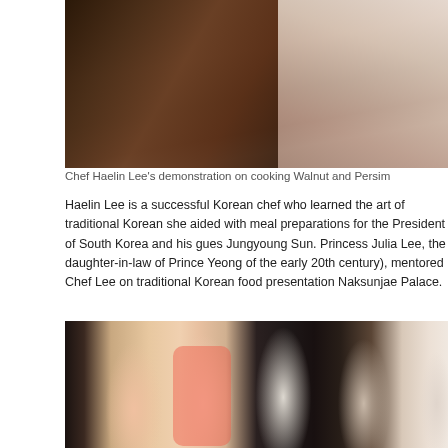[Figure (photo): Top portion of a photo showing Chef Haelin Lee's cooking demonstration, with dark brown background and light colored elements on the right side]
Chef Haelin Lee's demonstration on cooking Walnut and Persim
Haelin Lee is a successful Korean chef who learned the art of traditional Korean she aided with meal preparations for the President of South Korea and his gues Jungyoung Sun. Princess Julia Lee, the daughter-in-law of Prince Yeong of the early 20th century), mentored Chef Lee on traditional Korean food presentation Naksunjae Palace.
[Figure (photo): Group photo of several people standing together indoors. A woman in a coral/pink sleeveless dress with navy accents and belt is prominent, next to a tall man in a blue button-down shirt, and a man with long hair in a dark jacket, among others.]